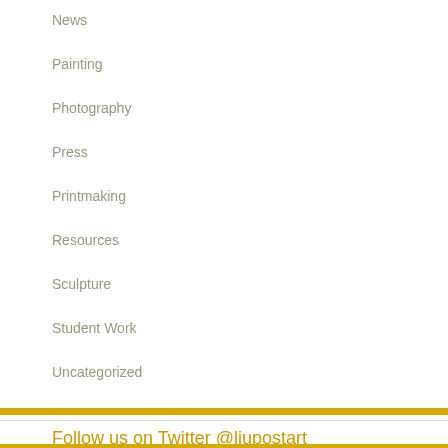News
Painting
Photography
Press
Printmaking
Resources
Sculpture
Student Work
Uncategorized
Follow us on Twitter @liupostart
My Tweets